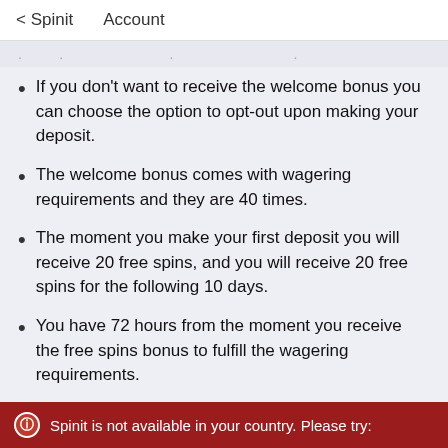< Spinit    Account
. . . .
If you don't want to receive the welcome bonus you can choose the option to opt-out upon making your deposit.
The welcome bonus comes with wagering requirements and they are 40 times.
The moment you make your first deposit you will receive 20 free spins, and you will receive 20 free spins for the following 10 days.
You have 72 hours from the moment you receive the free spins bonus to fulfill the wagering requirements.
The highest amount you can withdraw from the free spins is $100.
Deposits made with Skrill and Neteller are not
Spinit is not available in your country. Please try: